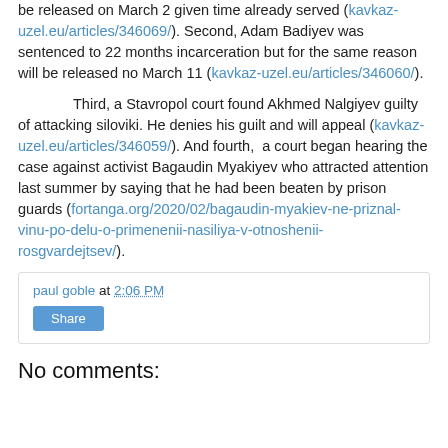be released on March 2 given time already served (kavkaz-uzel.eu/articles/346069/). Second, Adam Badiyev was sentenced to 22 months incarceration but for the same reason will be released no March 11 (kavkaz-uzel.eu/articles/346060/).
Third, a Stavropol court found Akhmed Nalgiyev guilty of attacking siloviki. He denies his guilt and will appeal (kavkaz-uzel.eu/articles/346059/). And fourth, a court began hearing the case against activist Bagaudin Myakiyev who attracted attention last summer by saying that he had been beaten by prison guards (fortanga.org/2020/02/bagaudin-myakiev-ne-priznal-vinu-po-delu-o-primenenii-nasiliya-v-otnoshenii-rosgvardejtsev/).
paul goble at 2:06 PM
Share
No comments: